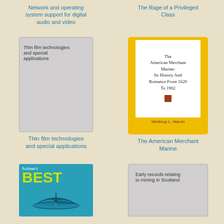Network and operating system support for digital audio and video
The Rage of a Privileged Class
[Figure (illustration): Book cover: Thin film technologies and special applications - gray plain cover]
[Figure (illustration): Book cover: The American Merchant Marine - yellow cover with white inner panel, by Winthrop L. Marvin]
Thin film technologies and special applications
The American Merchant Marine
[Figure (illustration): Book cover: Scribner's Best - teal/blue cover with yellow-green BEST text and open book image]
[Figure (illustration): Book cover: Early records relating to mining in Scotland - plain gray cover]